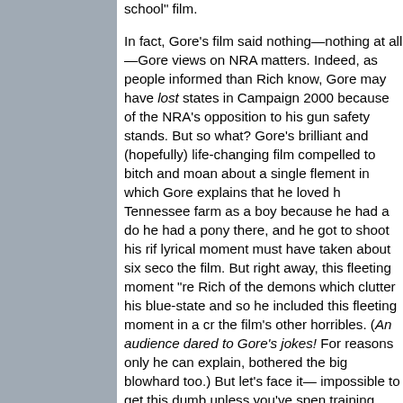school" film.

In fact, Gore's film said nothing—nothing at all—Gore views on NRA matters. Indeed, as people informed than Rich know, Gore may have lost states in Campaign 2000 because of the NRA's opposition to his gun safety stands. But so what? Gore's brilliant and (hopefully) life-changing film compelled to bitch and moan about a single fleeting moment in which Gore explains that he loved his Tennessee farm as a boy because he had a dog, he had a pony there, and he got to shoot his rifle— lyrical moment must have taken about six seconds of the film. But right away, this fleeting moment "reminded" Rich of the demons which clutter his blue-state mind, and so he included this fleeting moment in a crawl of the film's other horribles. (An audience dared to laugh at Gore's jokes! For reasons only he can explain, that bothered the big blowhard too.) But let's face it—it's impossible to get this dumb unless you've spent years in training. And it's hard to have so little heart—to be compelled to bitch and moan because a ten-year-old once liked to shoot tin cans with his gun on his granddad's farm.

But frankly, Rich is that kind of man. Did your dad buy you a pop gun when you were ten? Rich will punish you for it years later!